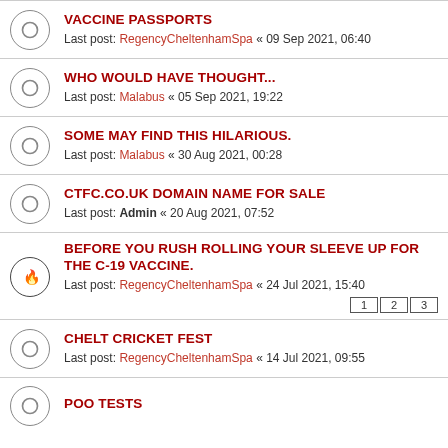VACCINE PASSPORTS
Last post: RegencyCheltenhamSpa « 09 Sep 2021, 06:40
WHO WOULD HAVE THOUGHT...
Last post: Malabus « 05 Sep 2021, 19:22
SOME MAY FIND THIS HILARIOUS.
Last post: Malabus « 30 Aug 2021, 00:28
CTFC.CO.UK DOMAIN NAME FOR SALE
Last post: Admin « 20 Aug 2021, 07:52
BEFORE YOU RUSH ROLLING YOUR SLEEVE UP FOR THE C-19 VACCINE.
Last post: RegencyCheltenhamSpa « 24 Jul 2021, 15:40
Pages: 1 2 3
CHELT CRICKET FEST
Last post: RegencyCheltenhamSpa « 14 Jul 2021, 09:55
POO TESTS